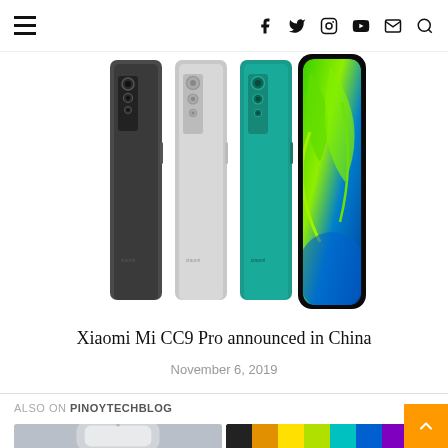Menu | f y Instagram YouTube Email Search
[Figure (photo): Four Xiaomi Mi CC9 Pro smartphones lined up showing their backs, in colors: dark gray, silver/white, teal/green, and a bright green curved-display model showing the screen background]
Xiaomi Mi CC9 Pro announced in China
November 6, 2019
ALSO ON PINOYTECHBLOG
[Figure (photo): Two thumbnail images of phones partially visible at the bottom of the page]